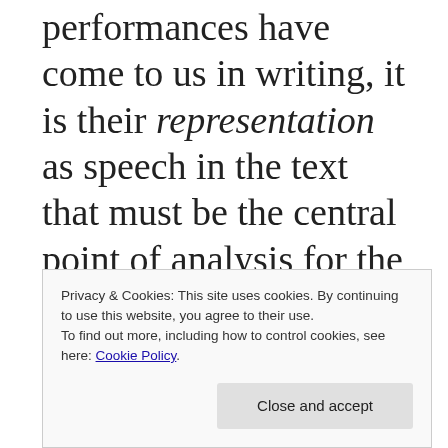performances have come to us in writing, it is their representation as speech in the text that must be the central point of analysis for the scholar” (10).
8 Robson (2019: 37).
9 Crisostomo (2019: 76–77).
Privacy & Cookies: This site uses cookies. By continuing to use this website, you agree to their use.
To find out more, including how to control cookies, see here: Cookie Policy